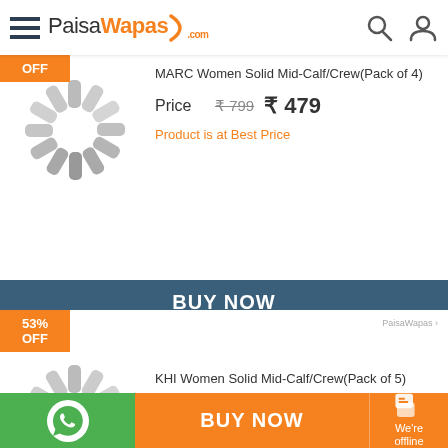PaisaWapas.com
MARC Women Solid Mid-Calf/Crew(Pack of 4)
Price  ₹799  ₹479
Product is at Best Price
BUY NOW
53% OFF
KHI Women Solid Mid-Calf/Crew(Pack of 5)
Price  ₹749  ₹349
Product is at Best Price
BUY NOW
We're offline